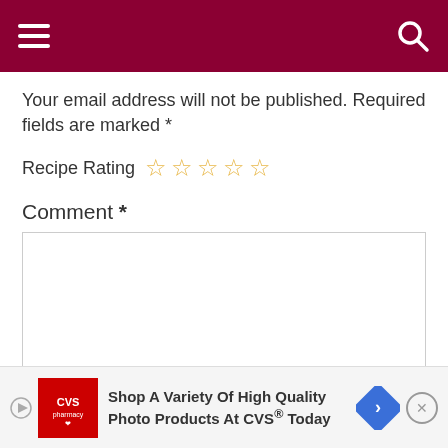Navigation header bar with hamburger menu and search icon
Your email address will not be published. Required fields are marked *
Recipe Rating ☆☆☆☆☆
Comment *
Name
[Figure (screenshot): CVS Pharmacy advertisement banner: Shop A Variety Of High Quality Photo Products At CVS® Today]
Email